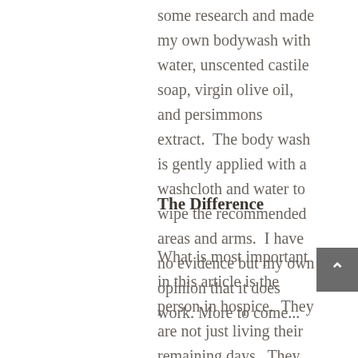some research and made my own bodywash with water, unscented castile soap, virgin olive oil, and persimmons extract.  The body wash is gently applied with a washcloth and water to wipe the recommended areas and arms.  I have no evidence but my own opinion that it does work. More to come...
The Difference
What is most important in this article is the person in hospice.  They are not just living their remaining days.  They can be very self-conscious and “embarrassed” by the conditions where they can spend time with the